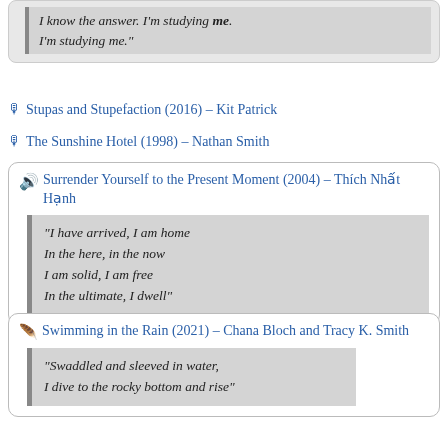“I know the answer. I’m studying me. I’m studying me.”
Stupas and Stupefaction (2016) – Kit Patrick
The Sunshine Hotel (1998) – Nathan Smith
Surrender Yourself to the Present Moment (2004) – Thích Nhất Hạnh
“I have arrived, I am home / In the here, in the now / I am solid, I am free / In the ultimate, I dwell”
Swimming in the Rain (2021) – Chana Bloch and Tracy K. Smith
“Swaddled and sleeved in water, I dive to the rocky bottom and rise”